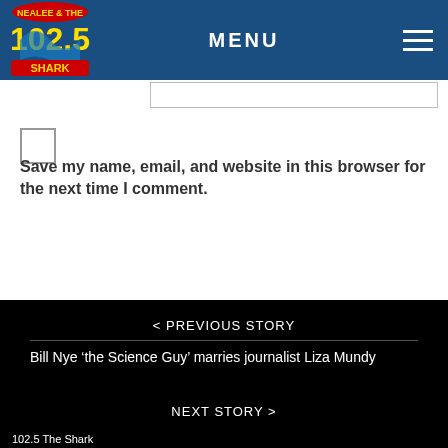MENU — 102.5 The Shark
Save my name, email, and website in this browser for the next time I comment.
Post Comment
< PREVIOUS STORY
Bill Nye 'the Science Guy' marries journalist Liza Mundy
NEXT STORY >
102.5 The Shark  MENU